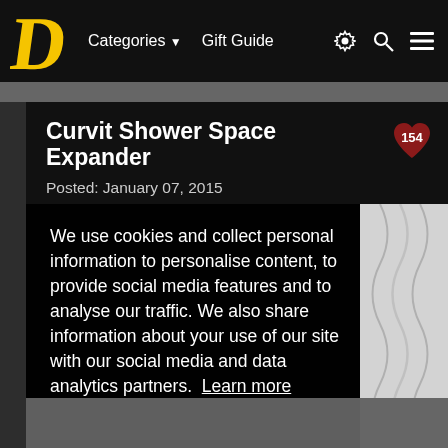D   Categories ▼   Gift Guide   ⚙ 🔍 ☰
Curvit Shower Space Expander
Posted: January 07, 2015
We use cookies and collect personal information to personalise content, to provide social media features and to analyse our traffic. We also share information about your use of our site with our social media and data analytics partners. Learn more
Got it!
[Figure (photo): Partial view of a white shower curtain or fabric, black and white photo strip on the right side of the page]